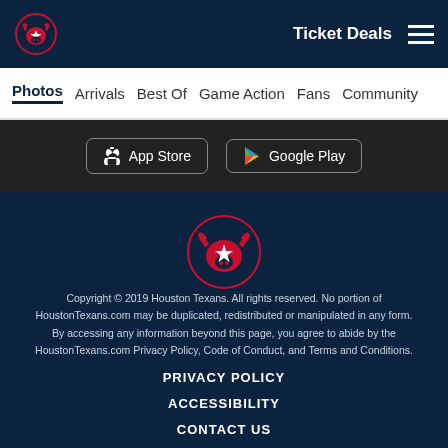Ticket Deals
Photos | Arrivals | Best Of | Game Action | Fans | Community
[Figure (screenshot): App Store and Google Play download buttons on dark background]
[Figure (logo): Houston Texans logo - bull head with star]
Copyright © 2019 Houston Texans. All rights reserved. No portion of HoustonTexans.com may be duplicated, redistributed or manipulated in any form. By accessing any information beyond this page, you agree to abide by the HoustonTexans.com Privacy Policy, Code of Conduct, and Terms and Conditions.
PRIVACY POLICY
ACCESSIBILITY
CONTACT US
SITE MAP